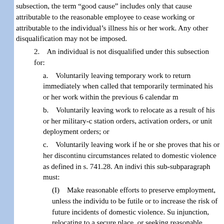subsection, the term “good cause” includes only that cause attributable to the reasonable employee to cease working or attributable to the individual’s illness his or her work. Any other disqualification may not be imposed.
2. An individual is not disqualified under this subsection for:
a. Voluntarily leaving temporary work to return immediately when called that temporarily terminated his or her work within the previous 6 calendar m
b. Voluntarily leaving work to relocate as a result of his or her military-c station orders, activation orders, or unit deployment orders; or
c. Voluntarily leaving work if he or she proves that his or her discontinu circumstances related to domestic violence as defined in s. 741.28. An indivi this sub-subparagraph must:
(I) Make reasonable efforts to preserve employment, unless the individu to be futile or to increase the risk of future incidents of domestic violence. Su injunction, relocating to a secure place, or seeking reasonable accommodatio transfer or change of assignment;
(II) Provide evidence such as an injunction, a protective order, or other c which reasonably proves that domestic violence has occurred; and
(III) Reasonably believe that he or she is likely to be the victim of a futu or departing from his or her place of employment.
3. The employment record of an employing unit may not be charged for who has voluntarily left work under sub-subparagraph 2.c.
4. Disqualification for being discharged for misconduct connected with h of unemployment next ensuing after having been discharged and until the inc